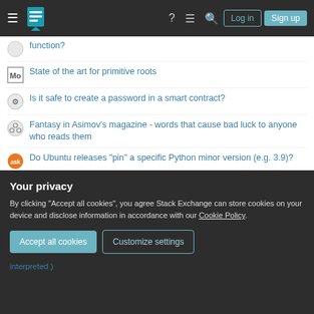Stack Exchange navigation bar with Log in and Sign up buttons
function?
State of the art for primitive roots
Is it safe to create a password in a smart contract?
Fantasy in Asimov's magazine - words that cause bad luck to anyone who reads them
Do Ubuntu releases "pin" a specific Python minor version (e.g. 3.9)?
How would the bible reader interpret Proverbs 24:21a use of the term "the king" if the earthly governing leadership was evil?
Little "holes" on carbon rims' profile: what are they used for?
Meaning of "You may well class the delight, the honour, and the comfort of such a situation together"
Your privacy
By clicking "Accept all cookies", you agree Stack Exchange can store cookies on your device and disclose information in accordance with our Cookie Policy.
interpreted )